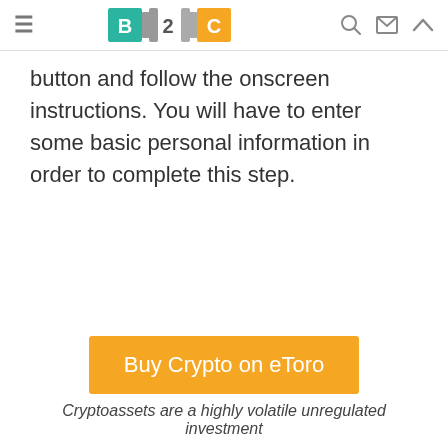B2C [logo navigation bar with hamburger menu, search, mail, and up icons]
button and follow the onscreen instructions. You will have to enter some basic personal information in order to complete this step.
[Figure (other): Orange CTA button labeled 'Buy Crypto on eToro']
Cryptoassets are a highly volatile unregulated investment